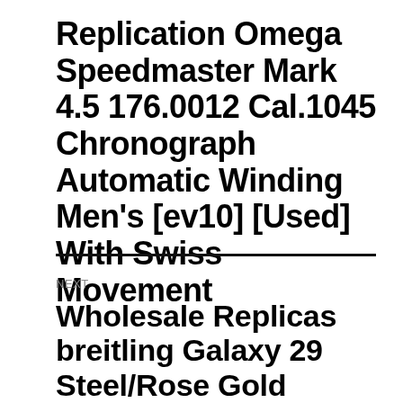Replication Omega Speedmaster Mark 4.5 176.0012 Cal.1045 Chronograph Automatic Winding Men's [ev10] [Used] With Swiss Movement
NEXT
Wholesale Replicas breitling Galaxy 29 Steel/Rose Gold Diamond Bezel Diamond Set MOP Dial Sahara White Leather Strap C7234853/A792 ...Year 2020 For Sale